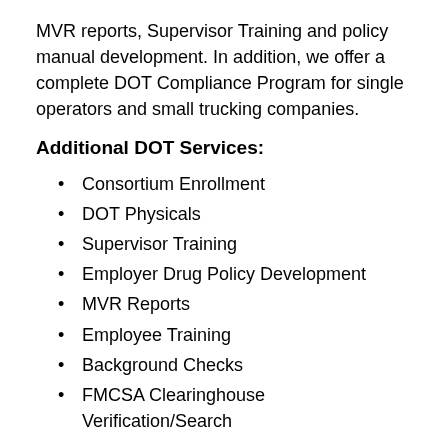MVR reports, Supervisor Training and policy manual development. In addition, we offer a complete DOT Compliance Program for single operators and small trucking companies.
Additional DOT Services:
Consortium Enrollment
DOT Physicals
Supervisor Training
Employer Drug Policy Development
MVR Reports
Employee Training
Background Checks
FMCSA Clearinghouse Verification/Search
The Opioid Overdose Crisis
Every day, more than 130 people in the United States die